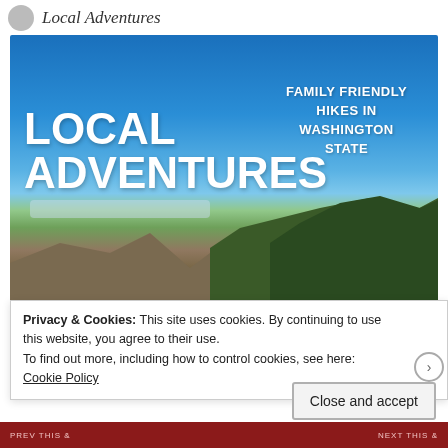Local Adventures
[Figure (photo): Scenic coastal landscape with blue sky, ocean coastline in the background, rocky cliffs and evergreen trees in the foreground. Overlaid text reads: LOCAL ADVENTURES (large bold white, left) and FAMILY FRIENDLY HIKES IN WASHINGTON STATE (bold white, right).]
Privacy & Cookies: This site uses cookies. By continuing to use this website, you agree to their use.
To find out more, including how to control cookies, see here: Cookie Policy
Close and accept